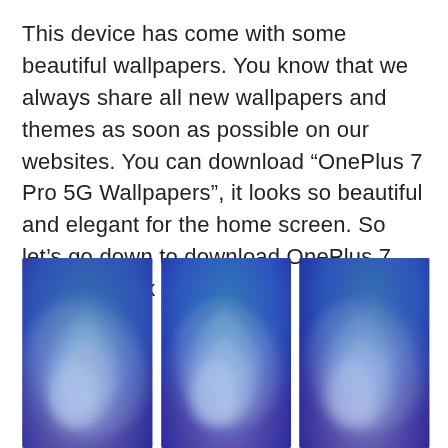This device has come with some beautiful wallpapers. You know that we always share all new wallpapers and themes as soon as possible on our websites. You can download “OnePlus 7 Pro 5G Wallpapers”, it looks so beautiful and elegant for the home screen. So let’s go down to download OnePlus 7 Pro 5G Stock Wallpapers.
[Figure (photo): Three side-by-side smartphone wallpaper images showing swirling abstract patterns transitioning from teal/green at the top to purple/blue at the bottom, resembling a galaxy or aurora vortex.]